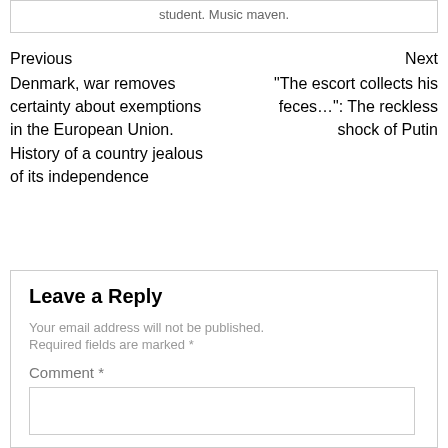student. Music maven.
Previous
Denmark, war removes certainty about exemptions in the European Union. History of a country jealous of its independence
Next
"The escort collects his feces…": The reckless shock of Putin
Leave a Reply
Your email address will not be published. Required fields are marked *
Comment *